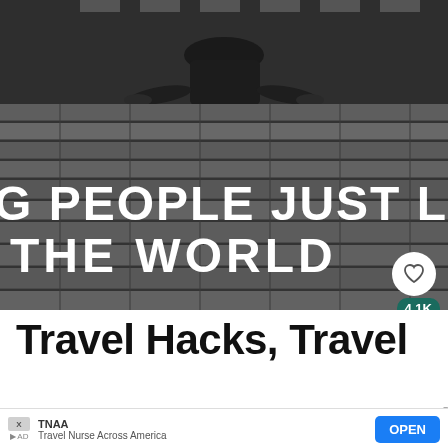[Figure (photo): Black and white photo of a person sitting on wooden deck planks, viewed from above. Overlaid bold white uppercase text reads: 'G PEOPLE JUST LIKE YOU D' and 'THE WORLD'. Social buttons (heart icon, 4.1K count, share icon) on the right side.]
Travel Hacks, Travel
[Figure (screenshot): Advertisement banner: TNAA logo, 'Travel Nurse Across America' text, blue OPEN button. Partial underlying text visible behind ad.]